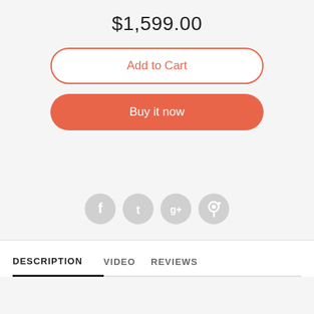$1,599.00
Add to Cart
Buy it now
[Figure (illustration): Row of four social media share icons (Facebook, Twitter, Google+, Pinterest) in light gray circular buttons]
DESCRIPTION   VIDEO   REVIEWS